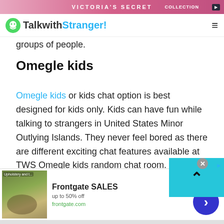[Figure (screenshot): Victoria's Secret top advertisement banner]
TalkwithStranger!
groups of people.
Omegle kids
Omegle kids or kids chat option is best designed for kids only. Kids can have fun while talking to strangers in United States Minor Outlying Islands. They never feel bored as there are different exciting chat features available at TWS Omegle kids random chat room. There is no doubt, choosing a kids chat option can be worthwhile when it comes to building
[Figure (screenshot): Frontgate SALES advertisement - up to 50% off, frontgate.com]